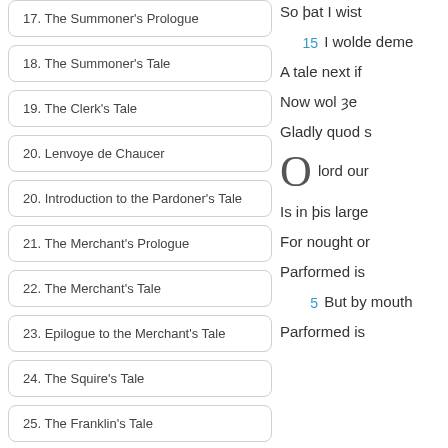17. The Summoner's Prologue
18. The Summoner's Tale
19. The Clerk's Tale
20. Lenvoye de Chaucer
20. Introduction to the Pardoner's Tale
21. The Merchant's Prologue
22. The Merchant's Tale
23. Epilogue to the Merchant's Tale
24. The Squire's Tale
25. The Franklin's Tale
26. The Second Nun's Tale
So þat I wist
15  I wolde deme
A tale next if
Now wol ȝe
Gladly quod s
O lord our
Is in þis large
For nought or
Parformed is
5  But by mouth
Parformed is